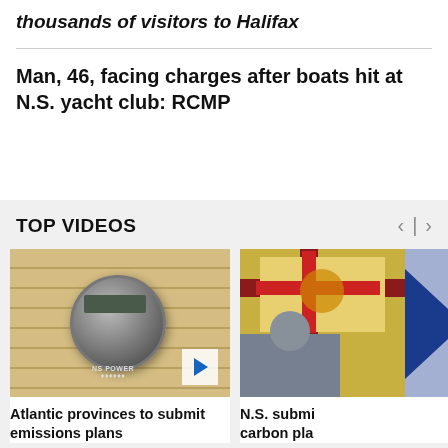thousands of visitors to Halifax
Man, 46, facing charges after boats hit at N.S. yacht club: RCMP
TOP VIDEOS
[Figure (photo): Electric utility meter mounted on a wooden building exterior]
[Figure (photo): Nova Scotia flag with a person in foreground]
Atlantic provinces to submit emissions plans
N.S. submi carbon pla